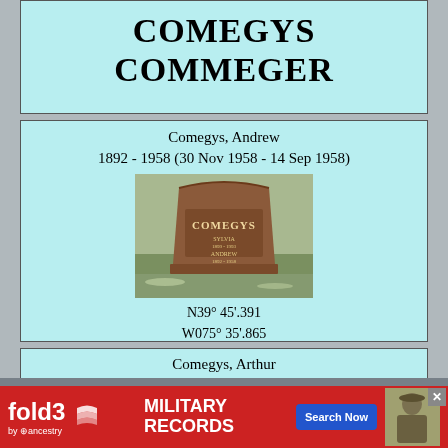COMEGYS
COMMEGER
Comegys, Andrew
1892 - 1958 (30 Nov 1958 - 14 Sep 1958)
[Figure (photo): Photograph of a gravestone reading COMEGYS with SYLVIA and ANDREW inscribed below, set in a grass field]
N39° 45'.391
W075° 35'.865
Mt. Olive
P - Comegys, William
P - Clark, Maria
Comegys, Arthur
d 16 Aug 1919 aged 8 mo
Mt. Olive
P - Andrew C...
[Figure (other): fold3 Military Records advertisement banner with Search Now button]